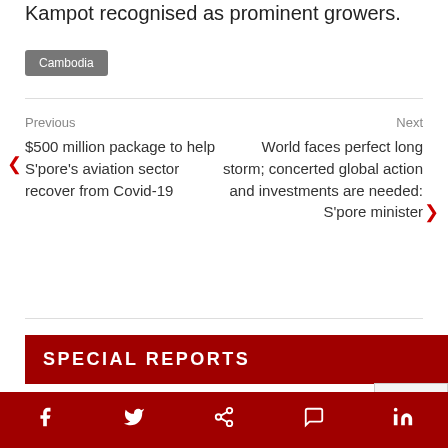Kampot recognised as prominent growers.
Cambodia
Previous
$500 million package to help S'pore's aviation sector recover from Covid-19
Next
World faces perfect long storm; concerted global action and investments are needed: S'pore minister
SPECIAL REPORTS